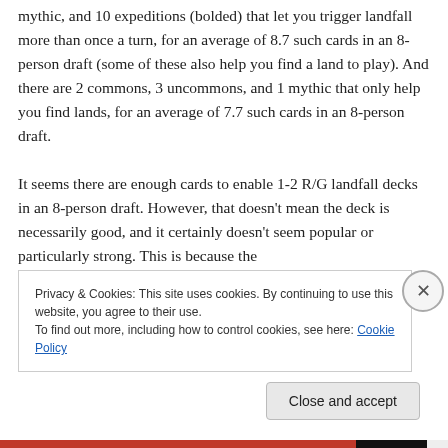mythic, and 10 expeditions (bolded) that let you trigger landfall more than once a turn, for an average of 8.7 such cards in an 8-person draft (some of these also help you find a land to play). And there are 2 commons, 3 uncommons, and 1 mythic that only help you find lands, for an average of 7.7 such cards in an 8-person draft.
It seems there are enough cards to enable 1-2 R/G landfall decks in an 8-person draft. However, that doesn't mean the deck is necessarily good, and it certainly doesn't seem popular or particularly strong. This is because the
Privacy & Cookies: This site uses cookies. By continuing to use this website, you agree to their use.
To find out more, including how to control cookies, see here: Cookie Policy
Close and accept